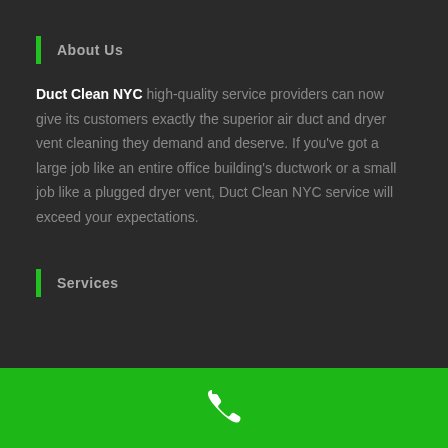About Us
Duct Clean NYC high-quality service providers can now give its customers exactly the superior air duct and dryer vent cleaning they demand and deserve. If you've got a large job like an entire office building's ductwork or a small job like a plugged dryer vent, Duct Clean NYC service will exceed your expectations.
Services
[Figure (other): Green footer bar with a white phone icon in the center]